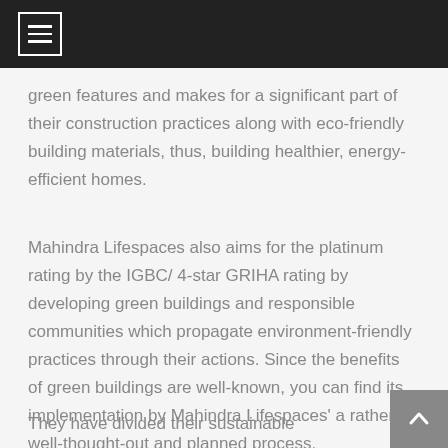[Figure (other): Dark navigation bar with hamburger menu icon (three horizontal lines inside a square border) on the left side]
green features and makes for a significant part of their construction practices along with eco-friendly building materials, thus, building healthier, energy-efficient homes.
Mahindra Lifespaces also aims for the platinum rating by the IGBC/ 4-star GRIHA rating by developing green buildings and responsible communities which propagate environment-friendly practices through their actions. Since the benefits of green buildings are well-known, you can find its implementation by Mahindra Lifespaces' a rather well-thought-out and planned process.
They have divided their sustainable